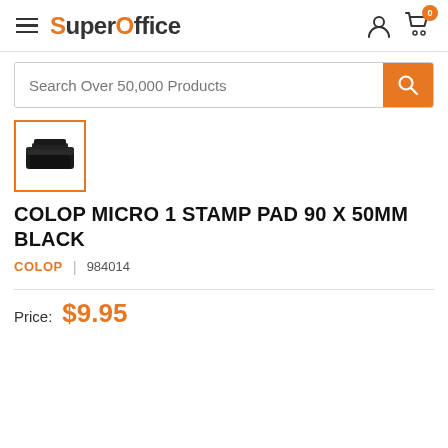SuperOffice
Search Over 50,000 Products
[Figure (photo): Black ink stamp pad product thumbnail image inside an orange bordered square]
COLOP MICRO 1 STAMP PAD 90 X 50MM BLACK
COLOP | 984014
Price: $9.95